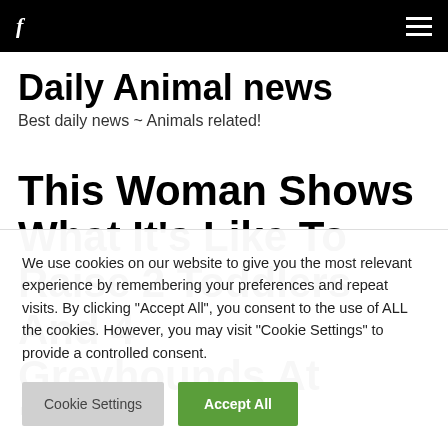f  ≡
Daily Animal news
Best daily news ~ Animals related!
This Woman Shows What It's Like To Raise 2 Toddlers And 4 [Greyhounds At Perfect]
We use cookies on our website to give you the most relevant experience by remembering your preferences and repeat visits. By clicking "Accept All", you consent to the use of ALL the cookies. However, you may visit "Cookie Settings" to provide a controlled consent.